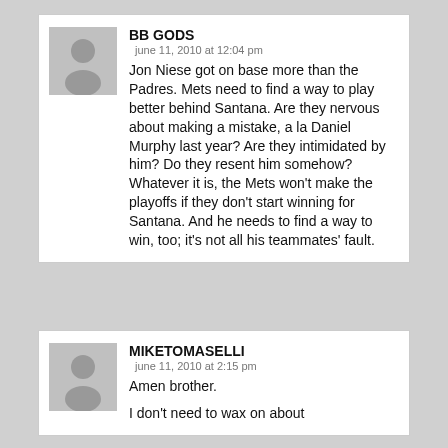BB GODS
june 11, 2010 at 12:04 pm
Jon Niese got on base more than the Padres. Mets need to find a way to play better behind Santana. Are they nervous about making a mistake, a la Daniel Murphy last year? Are they intimidated by him? Do they resent him somehow? Whatever it is, the Mets won't make the playoffs if they don't start winning for Santana. And he needs to find a way to win, too; it's not all his teammates' fault.
MIKETOMASELLI
june 11, 2010 at 2:15 pm
Amen brother.

I don't need to wax on about